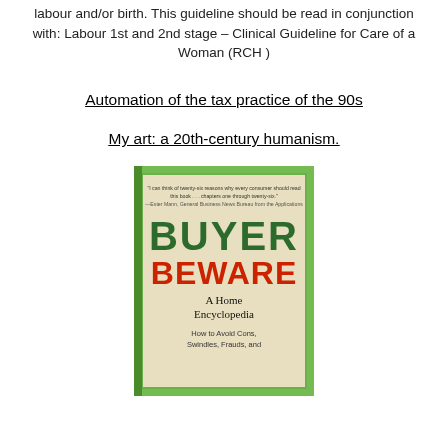labour and/or birth. This guideline should be read in conjunction with: Labour 1st and 2nd stage – Clinical Guideline for Care of a Woman (RCH )
Automation of the tax practice of the 90s
My art: a 20th-century humanism.
[Figure (photo): Book cover of 'Buyer Beware: A Home Encyclopedia – How to Avoid Cons, Swindles, Frauds, and...'. Green cover with large dark green 'BUYER' text and red stamped 'BEWARE' text, subtitle in serif font.]